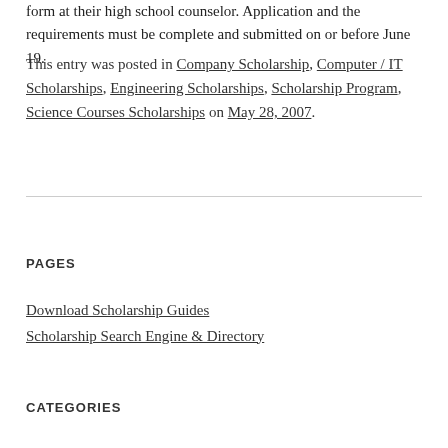form at their high school counselor. Application and the requirements must be complete and submitted on or before June 19.
This entry was posted in Company Scholarship, Computer / IT Scholarships, Engineering Scholarships, Scholarship Program, Science Courses Scholarships on May 28, 2007.
PAGES
Download Scholarship Guides
Scholarship Search Engine & Directory
CATEGORIES